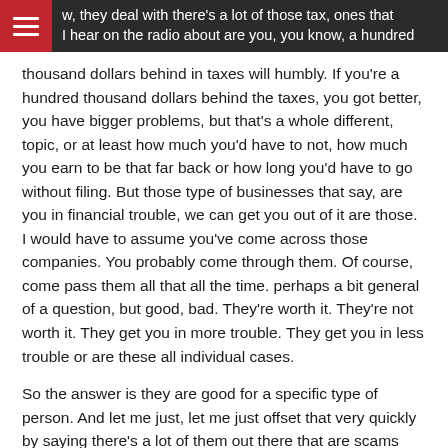w, they deal with there's a lot of those tax, ones that I hear on the radio about are you, you know, a hundred
thousand dollars behind in taxes will humbly. If you're a hundred thousand dollars behind the taxes, you got better, you have bigger problems, but that's a whole different, topic, or at least how much you'd have to not, how much you earn to be that far back or how long you'd have to go without filing. But those type of businesses that say, are you in financial trouble, we can get you out of it are those. I would have to assume you've come across those companies. You probably come through them. Of course, come pass them all that all the time. perhaps a bit general of a question, but good, bad. They're worth it. They're not worth it. They get you in more trouble. They get you in less trouble or are these all individual cases.
So the answer is they are good for a specific type of person. And let me just, let me just offset that very quickly by saying there's a lot of them out there that are scams